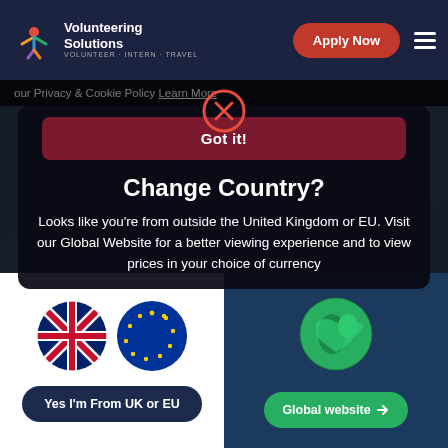[Figure (screenshot): Volunteering Solutions website navbar with logo, Apply Now button, and hamburger menu on dark blue background]
our Privacy & Cookie Policy Learn More
[Figure (screenshot): Close (X) button circle in pink/red stroke]
Got it!
Change Country?
Looks like you're from outside the United Kingdom or EU. Visit our Global Website for a better viewing experience and to view prices in your choice of currency
[Figure (screenshot): UK flag circle and EU flag circle side by side]
Yes I'm From UK or EU
[Figure (screenshot): Green globe/earth icon on dark blue background]
Global website